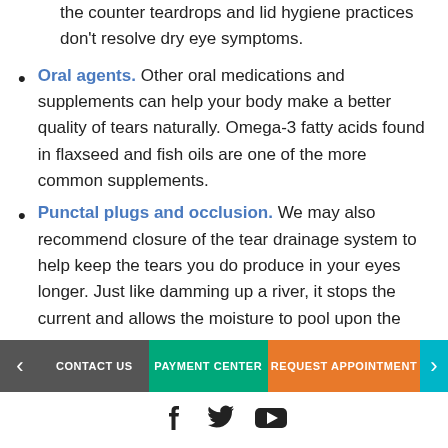the counter teardrops and lid hygiene practices don't resolve dry eye symptoms.
Oral agents. Other oral medications and supplements can help your body make a better quality of tears naturally. Omega-3 fatty acids found in flaxseed and fish oils are one of the more common supplements.
Punctal plugs and occlusion. We may also recommend closure of the tear drainage system to help keep the tears you do produce in your eyes longer. Just like damming up a river, it stops the current and allows the moisture to pool upon the
CONTACT US | PAYMENT CENTER | REQUEST APPOINTMENT